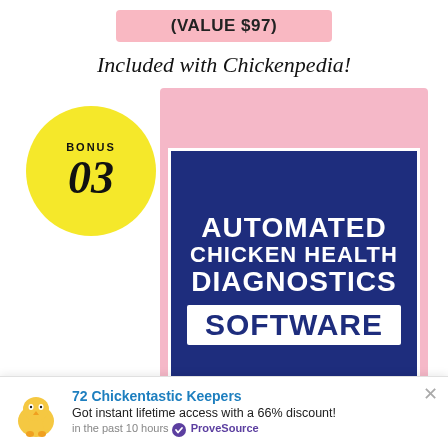(VALUE $97)
Included with Chickenpedia!
[Figure (illustration): Yellow circle badge with 'BONUS 03' overlapping a dark navy blue product card with pink border showing text: AUTOMATED CHICKEN HEALTH DIAGNOSTICS SOFTWARE]
72 Chickentastic Keepers
Got instant lifetime access with a 66% discount!
in the past 10 hours ✓ ProveSource